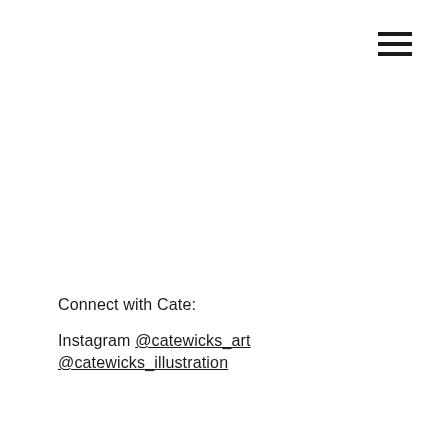[Figure (illustration): Hamburger menu icon — three horizontal black lines stacked vertically, positioned in the upper right corner]
Connect with Cate:
Instagram @catewicks_art
@catewicks_illustration